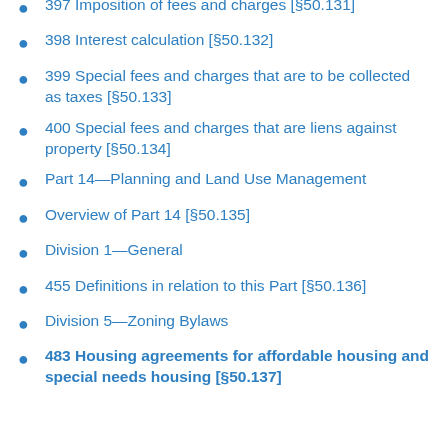397 Imposition of fees and charges [§50.131]
398 Interest calculation [§50.132]
399 Special fees and charges that are to be collected as taxes [§50.133]
400 Special fees and charges that are liens against property [§50.134]
Part 14—Planning and Land Use Management
Overview of Part 14 [§50.135]
Division 1—General
455 Definitions in relation to this Part [§50.136]
Division 5—Zoning Bylaws
483 Housing agreements for affordable housing and special needs housing [§50.137]